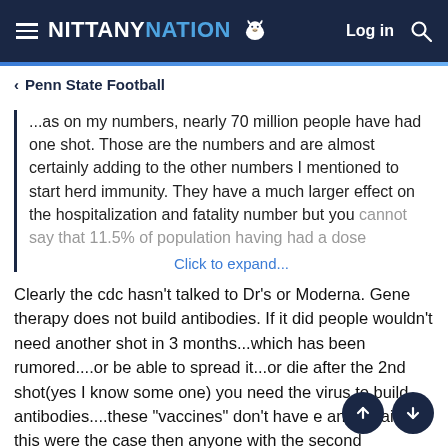NITTANY NATION — Log in
Penn State Football
...as on my numbers, nearly 70 million people have had one shot. Those are the numbers and are almost certainly adding to the other numbers I mentioned to start herd immunity. They have a much larger effect on the hospitalization and fatality number but you cannot say that 11.5% of population having had a dose
Click to expand...
Clearly the cdc hasn't talked to Dr's or Moderna. Gene therapy does not build antibodies. If it did people wouldn't need another shot in 3 months...which has been rumored....or be able to spread it...or die after the 2nd shot(yes I know some one) you need the virus to build antibodies....these "vaccines" don't have e any. Again if this were the case then anyone with the second shot could wear no mask.